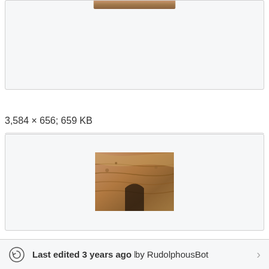[Figure (photo): Partial top view of a desert/rocky landscape photo cropped at the top of the page]
Qesm Saint Katrin, South Sinai Governorate, Egypt - pa...
3,584 × 656; 659 KB
[Figure (photo): Close-up photograph of layered golden-brown rock or cave surface with textured striations]
Qesm Saint Katrin, South Sinai Governorate, Egypt - pa...
2,048 × 1,536; 812 KB
Last edited 3 years ago by RudolphousBot